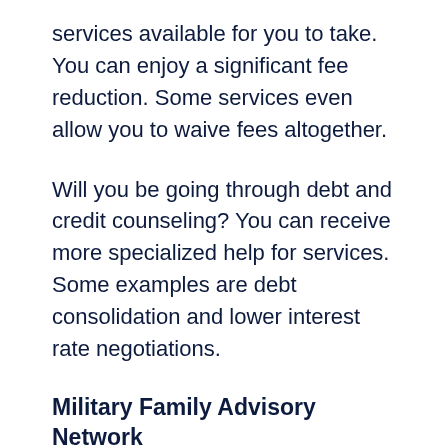services available for you to take. You can enjoy a significant fee reduction. Some services even allow you to waive fees altogether.
Will you be going through debt and credit counseling? You can receive more specialized help for services. Some examples are debt consolidation and lower interest rate negotiations.
Military Family Advisory Network
MFAN is an organization that helps military and veteran families. They focus on